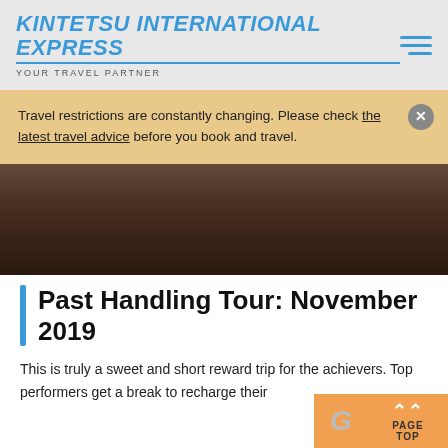KINTETSU INTERNATIONAL EXPRESS
YOUR TRAVEL PARTNER
Travel restrictions are constantly changing. Please check the latest travel advice before you book and travel.
[Figure (photo): Dark hero image showing people in traditional or cultural attire, partially obscured by an overlay notification banner.]
Past Handling Tour: November 2019
This is truly a sweet and short reward trip for the achievers. Top performers get a break to recharge their